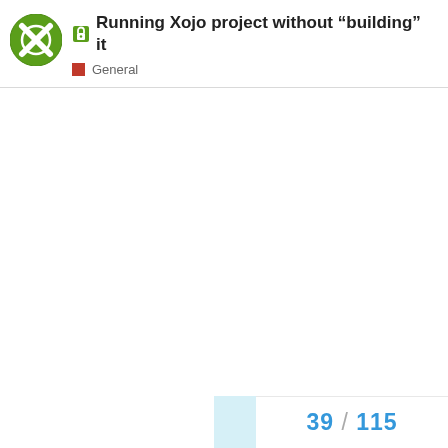Running Xojo project without “building” it
General
39 / 115